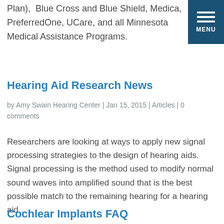Plan),  Blue Cross and Blue Shield, Medica, PreferredOne, UCare, and all Minnesota Medical Assistance Programs.
Hearing Aid Research News
by Amy Swain Hearing Center | Jan 15, 2015 | Articles | 0 comments
Researchers are looking at ways to apply new signal processing strategies to the design of hearing aids. Signal processing is the method used to modify normal sound waves into amplified sound that is the best possible match to the remaining hearing for a hearing aid...
Cochlear Implants FAQ